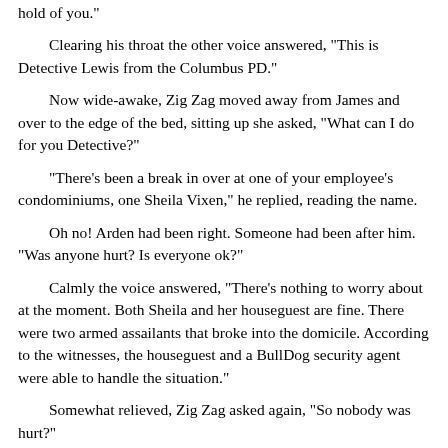hold of you."
Clearing his throat the other voice answered, "This is Detective Lewis from the Columbus PD."
Now wide-awake, Zig Zag moved away from James and over to the edge of the bed, sitting up she asked, "What can I do for you Detective?"
"There's been a break in over at one of your employee's condominiums, one Sheila Vixen," he replied, reading the name.
Oh no! Arden had been right. Someone had been after him. "Was anyone hurt? Is everyone ok?"
Calmly the voice answered, "There's nothing to worry about at the moment. Both Sheila and her houseguest are fine. There were two armed assailants that broke into the domicile. According to the witnesses, the houseguest and a BullDog security agent were able to handle the situation."
Somewhat relieved, Zig Zag asked again, "So nobody was hurt?"
She could hear the detective give a snort, "If you mean your people, no. Unfortunately however, neither of the two assailants survived the encounter."